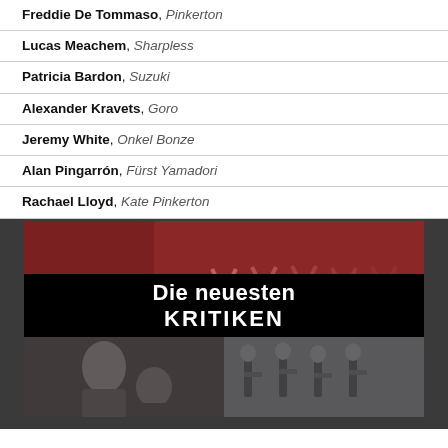Freddie De Tommaso, Pinkerton
Lucas Meachem, Sharpless
Patricia Bardon, Suzuki
Alexander Kravets, Goro
Jeremy White, Onkel Bonze
Alan Pingarrón, Fürst Yamadori
Rachael Lloyd, Kate Pinkerton
[Figure (photo): Promotional image with text 'Die neuesten KRITIKEN' overlaid on a collage of opera/concert performance photos — top shows performers with raised arms in red costumes, bottom-left shows a dramatic close-up of two actors, bottom-right shows musicians playing cellos.]